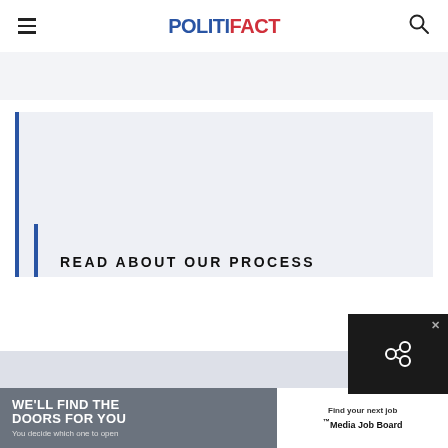POLITIFACT
[Figure (screenshot): Gray band below header navigation]
[Figure (infographic): READ ABOUT OUR PROCESS promo box with 'The Principles of the Truth-O-Meter' link and magnifying glass icon with yellow lens on blue body]
[Figure (screenshot): Advertisement banner: 'WE'LL FIND THE DOORS FOR YOU – You decide which one to open' on left, 'Find your next job – Media Job Board' on right. Overlay close button with share icon in dark box.]